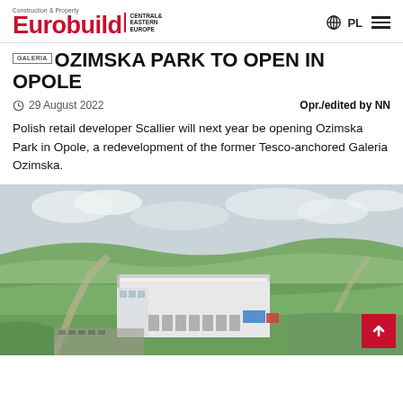Eurobuild Central & Eastern Europe — PL
OZIMSKA PARK TO OPEN IN OPOLE
29 August 2022   Opr./edited by NN
Polish retail developer Scallier will next year be opening Ozimska Park in Opole, a redevelopment of the former Tesco-anchored Galeria Ozimska.
[Figure (photo): Aerial view of a large warehouse/retail building surrounded by green fields and rolling hills, with roads and parking areas visible.]